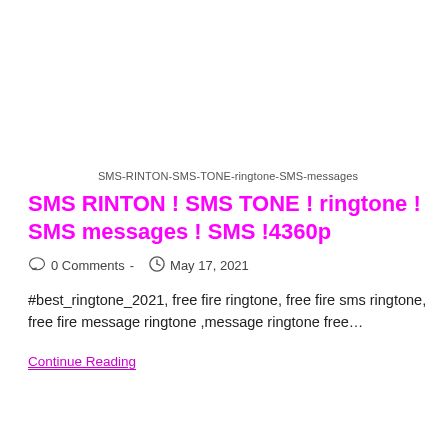SMS-RINTON-SMS-TONE-ringtone-SMS-messages
SMS RINTON ! SMS TONE ! ringtone ! SMS messages ! SMS !4360p
0 Comments - May 17, 2021
#best_ringtone_2021, free fire ringtone, free fire sms ringtone, free fire message ringtone ,message ringtone free…
Continue Reading